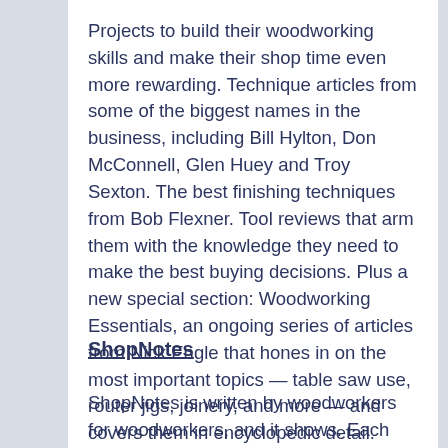Projects to build their woodworking skills and make their shop time even more rewarding. Technique articles from some of the biggest names in the business, including Bill Hylton, Don McConnell, Glen Huey and Troy Sexton. The best finishing techniques from Bob Flexner. Tool reviews that arm them with the knowledge they need to make the best buying decisions. Plus a new special section: Woodworking Essentials, an ongoing series of articles from Nick Engle that hones in on the most important topics — table saw use, router jigs, joinery, and more — and covers them in encyclopedic detail.
ShopNotes
ShopNotes is written by woodworkers for woodworkers, and it shows. Each issue is full of